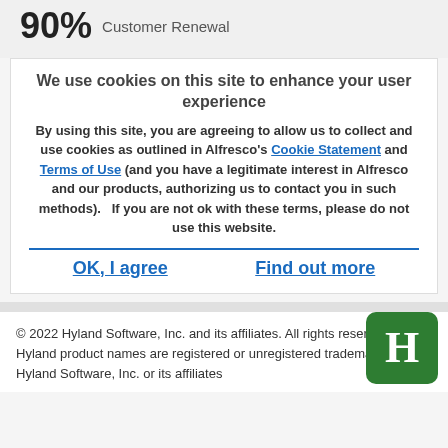90% Customer Renewal
We use cookies on this site to enhance your user experience
By using this site, you are agreeing to allow us to collect and use cookies as outlined in Alfresco’s Cookie Statement and Terms of Use (and you have a legitimate interest in Alfresco and our products, authorizing us to contact you in such methods).   If you are not ok with these terms, please do not use this website.
OK, I agree
Find out more
© 2022 Hyland Software, Inc. and its affiliates. All rights reserved. All Hyland product names are registered or unregistered trademarks of Hyland Software, Inc. or its affiliates